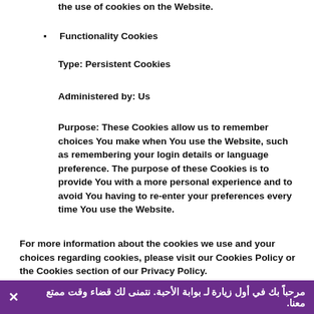the use of cookies on the Website.
Functionality Cookies
Type: Persistent Cookies
Administered by: Us
Purpose: These Cookies allow us to remember choices You make when You use the Website, such as remembering your login details or language preference. The purpose of these Cookies is to provide You with a more personal experience and to avoid You having to re-enter your preferences every time You use the Website.
For more information about the cookies we use and your choices regarding cookies, please visit our Cookies Policy or the Cookies section of our Privacy Policy.
Use of Your Personal Data
The Company may use Personal Data for the following
مرحباً بك في أول زيارة لـ بوابة الأحبة. نتمنى لك قضاء وقت ممتع معنا.